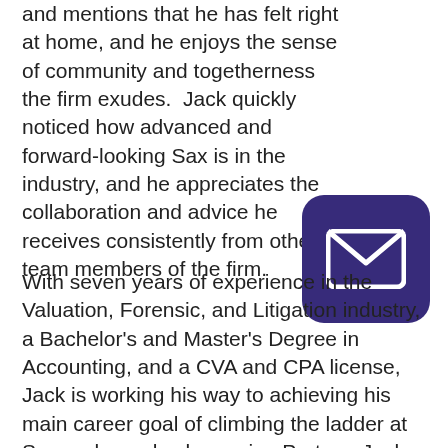and mentions that he has felt right at home, and he enjoys the sense of community and togetherness the firm exudes. Jack quickly noticed how advanced and forward-looking Sax is in the industry, and he appreciates the collaboration and advice he receives consistently from other team members of the firm.
[Figure (illustration): Dark purple rounded square icon containing a white envelope (email) symbol]
With seven years of experience in the Valuation, Forensic, and Litigation industry, a Bachelor's and Master's Degree in Accounting, and a CVA and CPA license, Jack is working his way to achieving his main career goal of climbing the ladder at Sax and one day becoming Partner. Jack has benefited the firm in many ways since